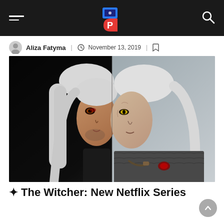Navigation bar with hamburger menu, logo (P), and search icon
Aliza Fatyma | November 13, 2019 | bookmark
[Figure (photo): Split-face composite image of Henry Cavill (left, live-action) and Geralt of Rivia from The Witcher video game (right, CGI character) with long white hair and armor]
✦ The Witcher: New Netflix Series